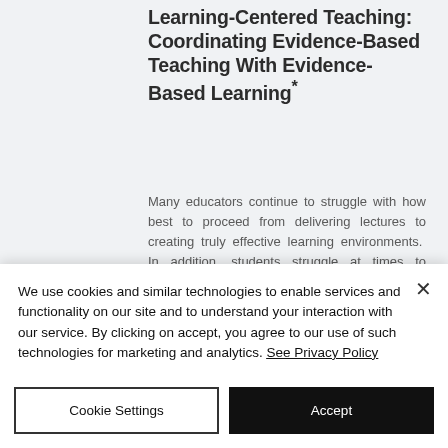Learning-Centered Teaching: Coordinating Evidence-Based Teaching With Evidence-Based Learning*
Many educators continue to struggle with how best to proceed from delivering lectures to creating truly effective learning environments. In addition, students struggle at times to understand the best way to learn in our classrooms. In this session, through active learning, we will discover how effective evidence-based teaching practices can be aligned with
We use cookies and similar technologies to enable services and functionality on our site and to understand your interaction with our service. By clicking on accept, you agree to our use of such technologies for marketing and analytics. See Privacy Policy